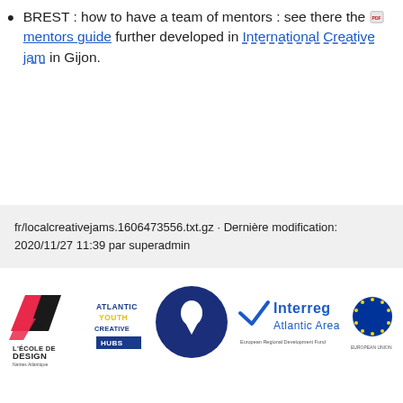BREST : how to have a team of mentors : see there the mentors guide further developed in International Creative jam in Gijon.
fr/localcreativejams.1606473556.txt.gz · Dernière modification: 2020/11/27 11:39 par superadmin
[Figure (logo): L'École de Design Nantes Atlantique logo with red and black geometric shapes]
[Figure (logo): Atlantic Youth Creative Hubs logo with blue circle and location pin]
[Figure (logo): Interreg Atlantic Area European Union logo]